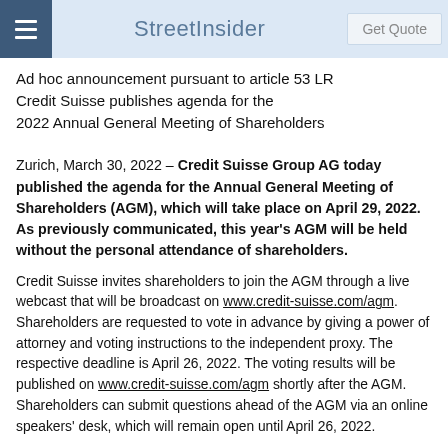StreetInsider
Ad hoc announcement pursuant to article 53 LR
Credit Suisse publishes agenda for the
2022 Annual General Meeting of Shareholders
Zurich, March 30, 2022 – Credit Suisse Group AG today published the agenda for the Annual General Meeting of Shareholders (AGM), which will take place on April 29, 2022. As previously communicated, this year's AGM will be held without the personal attendance of shareholders.
Credit Suisse invites shareholders to join the AGM through a live webcast that will be broadcast on www.credit-suisse.com/agm. Shareholders are requested to vote in advance by giving a power of attorney and voting instructions to the independent proxy. The respective deadline is April 26, 2022. The voting results will be published on www.credit-suisse.com/agm shortly after the AGM. Shareholders can submit questions ahead of the AGM via an online speakers' desk, which will remain open until April 26, 2022.
The agenda for the 2022 AGM, published today by the Board of Directors of Credit Suisse Group AG (Board), includes but is not limited